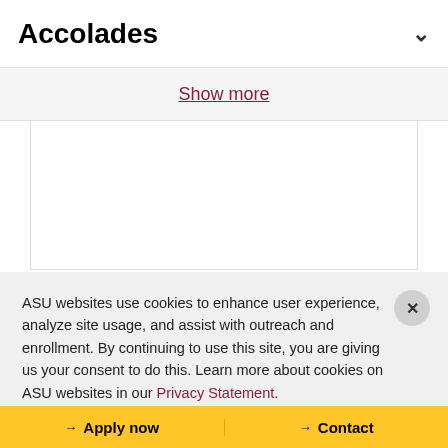Accolades
Show more
[Figure (screenshot): White empty panel/card area]
ASU websites use cookies to enhance user experience, analyze site usage, and assist with outreach and enrollment. By continuing to use this site, you are giving us your consent to do this. Learn more about cookies on ASU websites in our Privacy Statement.
Ok, I agree
Apply now   Contact